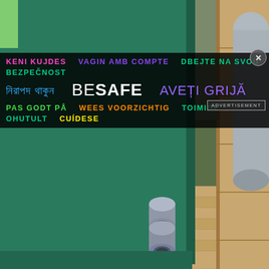[Figure (photo): Outdoor photo showing the base of a green-painted wooden structure (playhouse or shed) sitting on wooden decking/boards, with a grey PVC pipe visible at the base. Grass and autumn leaves visible on the ground. The background shows more wooden planks and a grey cylinder/tube leaning against the structure.]
KENI KUJDES  VAGIN AMB COMPTE  DBEJTE NA SVOU BEZPEČNOST
নিরাপদ থাকুন    BE SAFE    AVEȚI GRIJĂ
PAS GODT PÅ  WEES VOORZICHTIG  TOIMIGE OHUTULT  CUÍDESE
ADVERTISEMENT